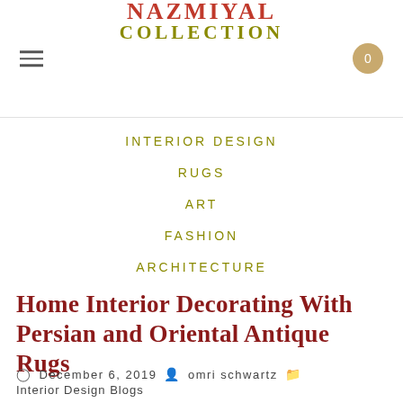Nazmiyal Collection
INTERIOR DESIGN
RUGS
ART
FASHION
ARCHITECTURE
Home Interior Decorating With Persian and Oriental Antique Rugs
December 6, 2019   omri schwartz   Interior Design Blogs